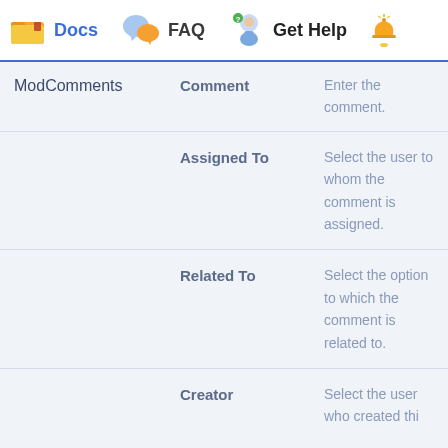Docs  FAQ  Get Help
| Module | Field | Description |
| --- | --- | --- |
| ModComments | Comment | Enter the comment. |
|  | Assigned To | Select the user to whom the comment is assigned. |
|  | Related To | Select the option to which the comment is related to. |
|  | Creator | Select the user who created thi... |